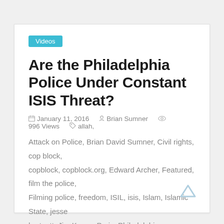Videos
Are the Philadelphia Police Under Constant ISIS Threat?
January 11, 2016   Brian Sumner   996 Views   allah, Attack on Police, Brian David Sumner, Civil rights, cop block, copblock, copblock.org, Edward Archer, Featured, film the police, Filming police, freedom, ISIL, isis, Islam, Islamic State, jesse hartnett, Jim Kenny, Paris, Philadelphia, Philadelphia police, police, Police State, religion, rights, san bernardino, strike the root, Terrorism, terrorist, Update